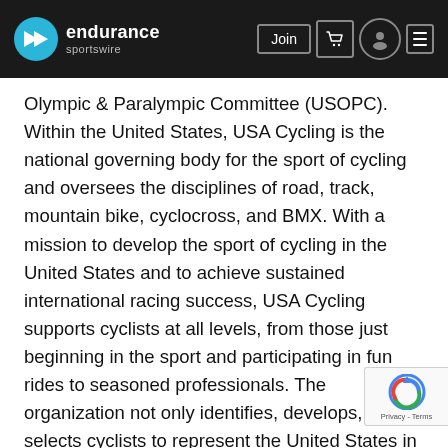endurance sportswire — navigation header with Join button, cart, user, and menu icons
Olympic & Paralympic Committee (USOPC). Within the United States, USA Cycling is the national governing body for the sport of cycling and oversees the disciplines of road, track, mountain bike, cyclocross, and BMX. With a mission to develop the sport of cycling in the United States and to achieve sustained international racing success, USA Cycling supports cyclists at all levels, from those just beginning in the sport and participating in fun rides to seasoned professionals. The organization not only identifies, develops, and selects cyclists to represent the United States in international competition, but also supports amateur bike racing through grassroots development programs and the provision of cri